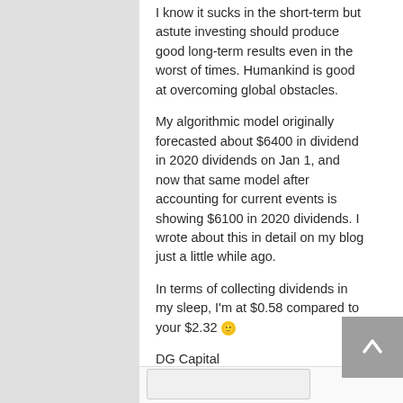I know it sucks in the short-term but astute investing should produce good long-term results even in the worst of times. Humankind is good at overcoming global obstacles.
My algorithmic model originally forecasted about $6400 in dividend in 2020 dividends on Jan 1, and now that same model after accounting for current events is showing $6100 in 2020 dividends. I wrote about this in detail on my blog just a little while ago.
In terms of collecting dividends in my sleep, I'm at $0.58 compared to your $2.32 🙂
DG Capital